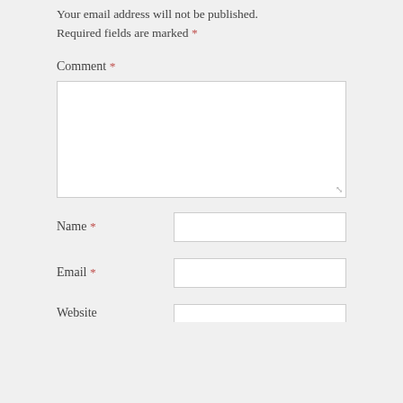Your email address will not be published. Required fields are marked *
Comment *
[Figure (other): Empty comment textarea with resize handle]
Name *
[Figure (other): Empty name input field]
Email *
[Figure (other): Empty email input field]
Website